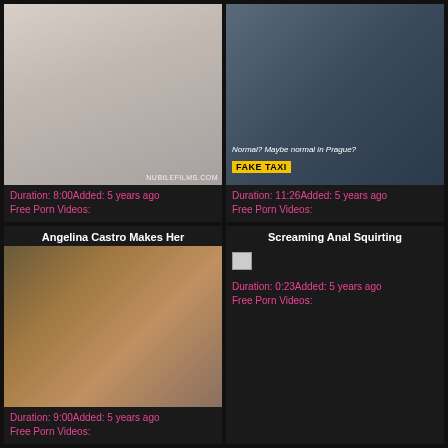[Figure (photo): Thumbnail from NubileFilms adult video site]
Duration: 8:00Added: 5 years ago
Free Porn Videos:
[Figure (photo): Fake Taxi adult video thumbnail with woman in car, text: Normal? Maybe normal in Prague?]
Duration: 11:26Added: 5 years ago
Free Porn Videos:
Angelina Castro Makes Her
[Figure (photo): Angelina Castro adult video thumbnail]
Duration: 9:00Added: 5 years ago
Free Porn Videos:
Screaming Anal Squirting
[Figure (photo): Broken image placeholder]
Duration: 0:23Added: 5 years ago
Free Porn Videos: